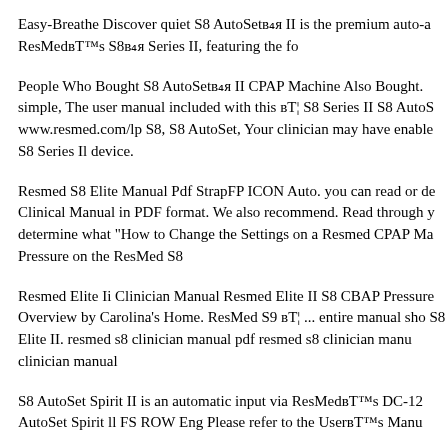Easy-Breathe Discover quiet S8 AutoSetв„ÿ II is the premium auto-a ResMedвЂ™s S8в„ÿ Series II, featuring the fo
People Who Bought S8 AutoSetв„ÿ II CPAP Machine Also Bought. simple, The user manual included with this вЂ¦ S8 Series II S8 AutoS www.resmed.com/lp S8, S8 AutoSet, Your clinician may have enable S8 Series Il device.
Resmed S8 Elite Manual Pdf StrapFP ICON Auto. you can read or de Clinical Manual in PDF format. We also recommend. Read through y determine what "How to Change the Settings on a Resmed CPAP Ma Pressure on the ResMed S8
Resmed Elite Ii Clinician Manual Resmed Elite II S8 CBAP Pressure Overview by Carolina's Home. ResMed S9 вЂ¦ ... entire manual sho S8 Elite II. resmed s8 clinician manual pdf resmed s8 clinician manu clinician manual
S8 AutoSet Spirit II is an automatic input via ResMedвЂ™s DC-12 AutoSet Spirit ll FS ROW Eng Please refer to the UserвЂ™s Manu